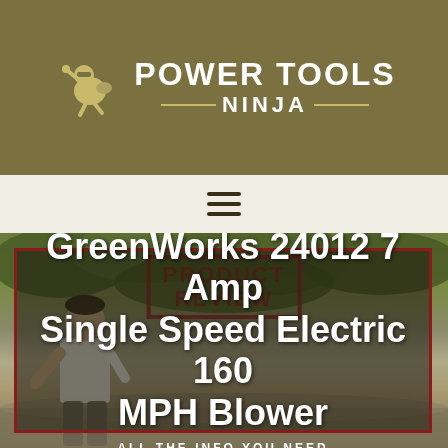[Figure (logo): Power Tools Ninja logo with ninja character icon and brand name on olive/khaki background]
[Figure (other): Hamburger menu icon (three horizontal lines)]
[Figure (photo): Outdoor photo of a person using a leaf blower near grass and shrubs, with overlaid text box]
GreenWorks 24012 7 Amp Single Speed Electric 160 MPH Blower
ALL THE INFO YOU NEED